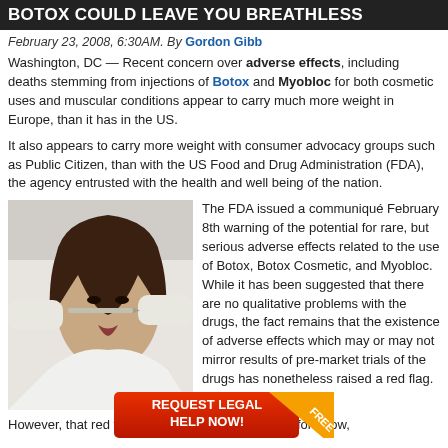BOTOX COULD LEAVE YOU BREATHLESS
February 23, 2008, 6:30AM. By Gordon Gibb
Washington, DC — Recent concern over adverse effects, including deaths stemming from injections of Botox and Myobloc for both cosmetic uses and muscular conditions appear to carry much more weight in Europe, than it has in the US.
It also appears to carry more weight with consumer advocacy groups such as Public Citizen, than with the US Food and Drug Administration (FDA), the agency entrusted with the health and well being of the nation.
[Figure (photo): A woman lying down receiving a cosmetic injection treatment from gloved hands.]
The FDA issued a communiqué February 8th warning of the potential for rare, but serious adverse effects related to the use of Botox, Botox Cosmetic, and Myobloc. While it has been suggested that there are no qualitative problems with the drugs, the fact remains that the existence of adverse effects which may or may not mirror results of pre-market trials of the drugs has nonetheless raised a red flag.
[Figure (infographic): Red advertisement banner: REQUEST LEGAL HELP NOW! FREE]
However, that red flag                                                  before now,